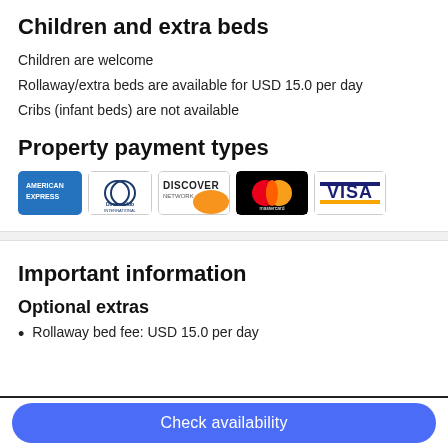Children and extra beds
Children are welcome
Rollaway/extra beds are available for USD 15.0 per day
Cribs (infant beds) are not available
Property payment types
[Figure (logo): Payment logos: American Express, Diners Club International, Discover Network, Mastercard, Visa]
Important information
Optional extras
Rollaway bed fee: USD 15.0 per day
Check availability